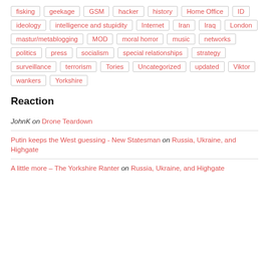fisking
geekage
GSM
hacker
history
Home Office
ID
ideology
intelligence and stupidity
Internet
Iran
Iraq
London
mastur/metablogging
MOD
moral horror
music
networks
politics
press
socialism
special relationships
strategy
surveillance
terrorism
Tories
Uncategorized
updated
Viktor
wankers
Yorkshire
Reaction
JohnK on Drone Teardown
Putin keeps the West guessing - New Statesman on Russia, Ukraine, and Highgate
A little more – The Yorkshire Ranter on Russia, Ukraine, and Highgate